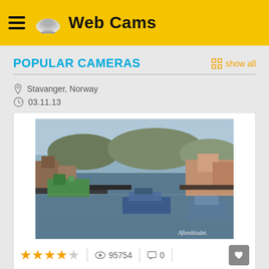Web Cams
POPULAR CAMERAS
Stavanger, Norway
03.11.13
[Figure (photo): Webcam view of Stavanger, Norway harbor with boats docked, waterfront buildings, and water. Watermark reads 'Aftenbladet'.]
★★★★☆  |  👁 95754  |  💬 0